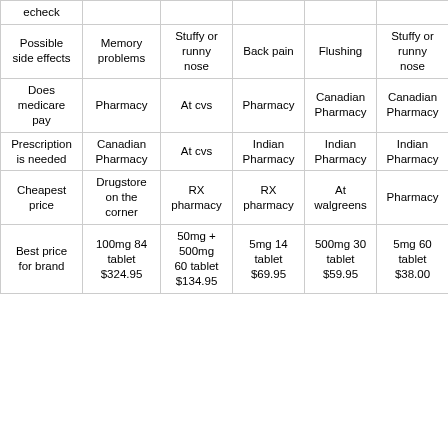|  |  |  |  |  |  |
| --- | --- | --- | --- | --- | --- |
| echeck |  |  |  |  |  |
| Possible side effects | Memory problems | Stuffy or runny nose | Back pain | Flushing | Stuffy or runny nose |
| Does medicare pay | Pharmacy | At cvs | Pharmacy | Canadian Pharmacy | Canadian Pharmacy |
| Prescription is needed | Canadian Pharmacy | At cvs | Indian Pharmacy | Indian Pharmacy | Indian Pharmacy |
| Cheapest price | Drugstore on the corner | RX pharmacy | RX pharmacy | At walgreens | Pharmacy |
| Best price for brand | 100mg 84 tablet $324.95 | 50mg + 500mg 60 tablet $134.95 | 5mg 14 tablet $69.95 | 500mg 30 tablet $59.95 | 5mg 60 tablet $38.00 |